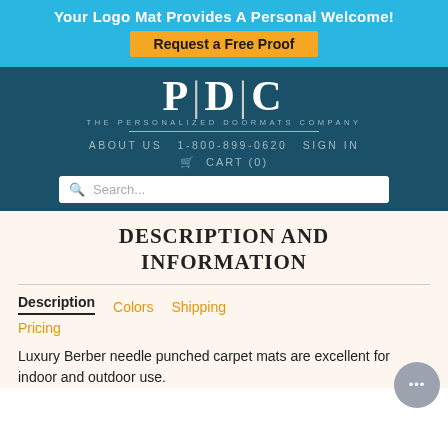Your Logo Mat Provides A Personal Welcome!
Request a Free Proof
[Figure (logo): PDC - The Personalized Doormats Company logo with navigation: ABOUT US  1-800-899-0620  SIGN IN  CART (0) and search bar]
DESCRIPTION AND INFORMATION
Description  Colors  Shipping  Pricing
Luxury Berber needle punched carpet mats are excellent for indoor and outdoor use.